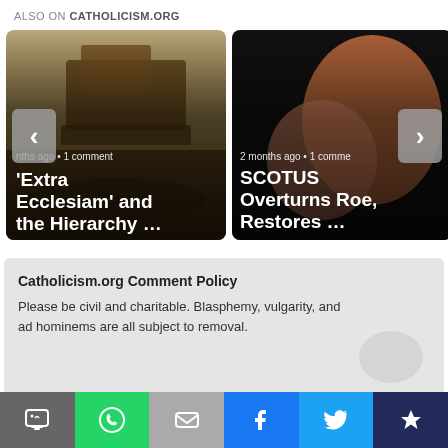ALSO ON CATHOLICISM.ORG
[Figure (screenshot): Carousel of two article cards. Left card: image of Noah's Ark scene, title "'Extra Ecclesiam' and the Hierarchy …", meta "nths ago • 1 comment". Right card: image of a baby's hand, title "SCOTUS Overturns Roe, Restores …", meta "2 months ago • 1 comme". Left navigation arrow and right navigation arrow visible.]
Catholicism.org Comment Policy
Please be civil and charitable. Blasphemy, vulgarity, and ad hominems are all subject to removal.
[Figure (screenshot): Social share bar at bottom with icons: SMS (grey), WhatsApp (green), Email (grey), Facebook (blue), Twitter (light blue), More/Crown (dark blue).]